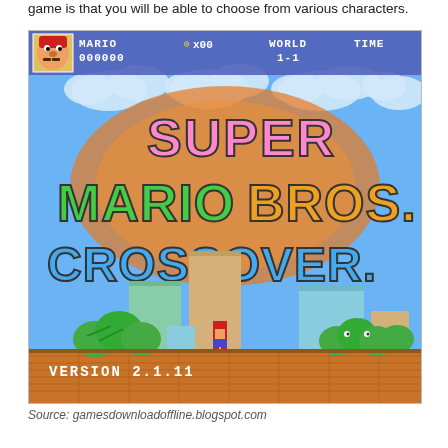game is that you will be able to choose from various characters.
[Figure (screenshot): Screenshot of Super Mario Bros. Crossover video game title screen showing the game logo with colorful letters, Mario character, platforms, bushes, and HUD elements including MARIO score 000000, coin counter 0x00, WORLD 1-1, TIME, and VERSION 2.1.11 at the bottom.]
Source: gamesdownloadoffline.blogspot.com